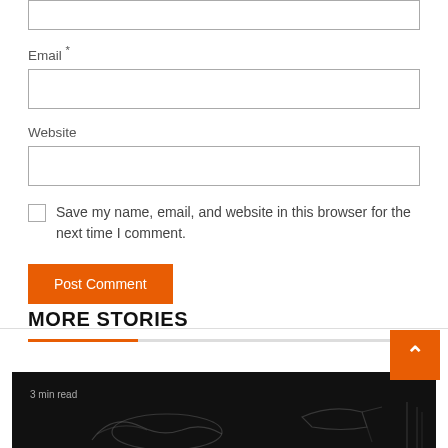Email *
Website
Save my name, email, and website in this browser for the next time I comment.
Post Comment
MORE STORIES
[Figure (screenshot): Story thumbnail image with '3 min read' label, showing sketch-style illustrations on black background]